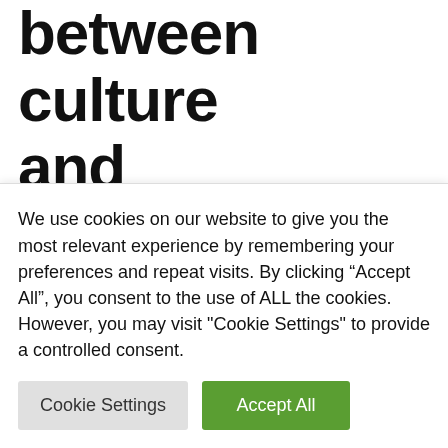between culture and technology permanent
June 23, 2022 by admin
Given the importance it has assumed in our individual and collective lives, we are so
We use cookies on our website to give you the most relevant experience by remembering your preferences and repeat visits. By clicking “Accept All”, you consent to the use of ALL the cookies. However, you may visit "Cookie Settings" to provide a controlled consent.